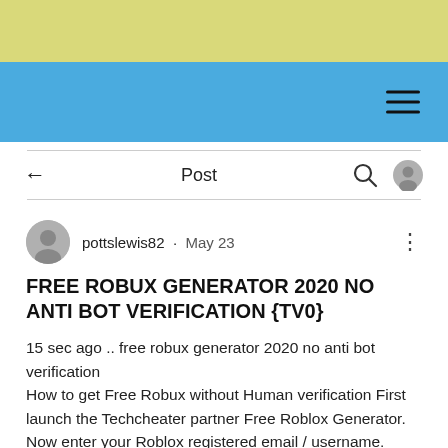[Figure (screenshot): Website header with yellow banner on top and blue navigation bar below containing a hamburger menu icon on the right]
Post
pottslewis82 · May 23
FREE ROBUX GENERATOR 2020 NO ANTI BOT VERIFICATION {TV0}
15 sec ago .. free robux generator 2020 no anti bot verification
How to get Free Robux without Human verification First launch the Techcheater partner Free Roblox Generator. Now enter your Roblox registered email / username. Select your account region,